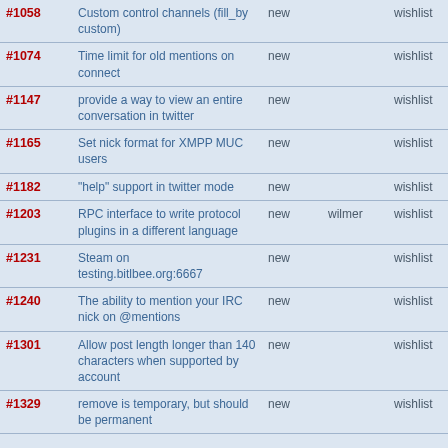| #1058 | Custom control channels (fill_by custom) | new |  | wishlist |
| #1074 | Time limit for old mentions on connect | new |  | wishlist |
| #1147 | provide a way to view an entire conversation in twitter | new |  | wishlist |
| #1165 | Set nick format for XMPP MUC users | new |  | wishlist |
| #1182 | "help" support in twitter mode | new |  | wishlist |
| #1203 | RPC interface to write protocol plugins in a different language | new | wilmer | wishlist |
| #1231 | Steam on testing.bitlbee.org:6667 | new |  | wishlist |
| #1240 | The ability to mention your IRC nick on @mentions | new |  | wishlist |
| #1301 | Allow post length longer than 140 characters when supported by account | new |  | wishlist |
| #1329 | remove is temporary, but should be permanent | new |  | wishlist |